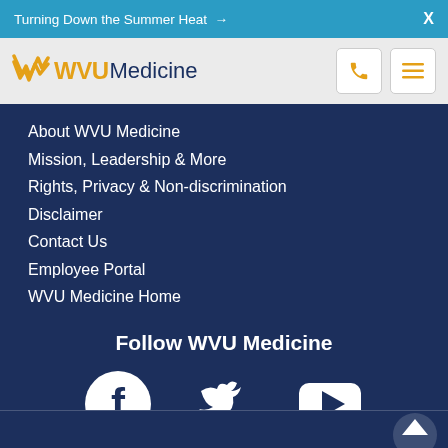Turning Down the Summer Heat → X
[Figure (logo): WVU Medicine logo with flying WV icon in gold and navy, phone icon button and hamburger menu button]
About WVU Medicine
Mission, Leadership & More
Rights, Privacy & Non-discrimination
Disclaimer
Contact Us
Employee Portal
WVU Medicine Home
Follow WVU Medicine
[Figure (illustration): Social media icons: Facebook circle, Twitter bird, YouTube play button, LinkedIn logo — all white on dark navy background]